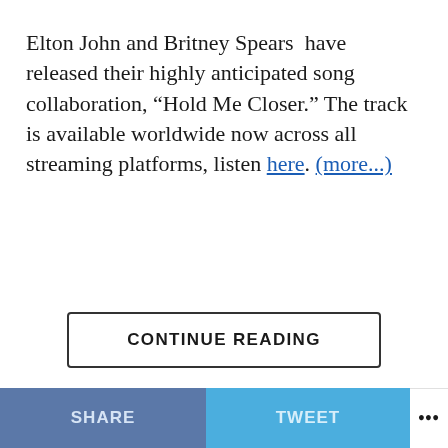Elton John and Britney Spears  have released their highly anticipated song collaboration, “Hold Me Closer.” The track is available worldwide now across all streaming platforms, listen here. (more...)
CONTINUE READING
SHARE   TWEET   •••